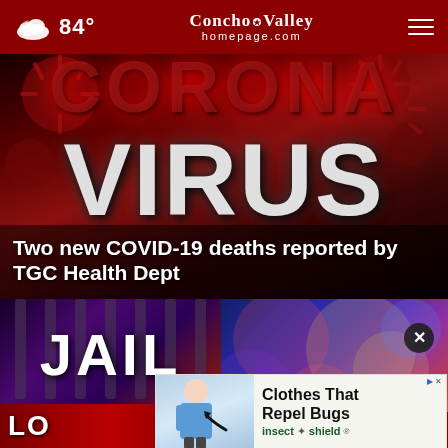84° Concho Valley homepage.com
[Figure (photo): Coronavirus visual with large text 'CORONA VIRUS' on dark red background with virus particles]
Two new COVID-19 deaths reported by TGC Health Dept
[Figure (photo): Jail graphic with cell bars and text 'JAIL' overlay]
[Figure (photo): Police lights blur bokeh photo]
[Figure (other): Advertisement: Clothes That Repel Bugs - insect shield, showing woman in scrubs with arrow]